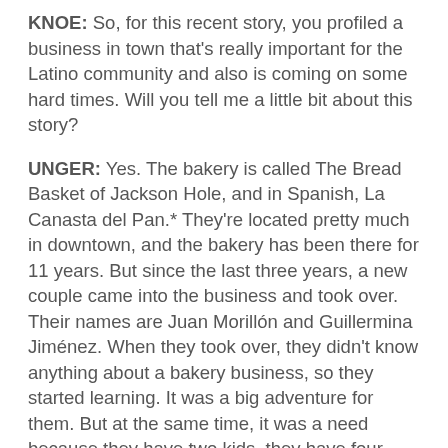KNOE: So, for this recent story, you profiled a business in town that's really important for the Latino community and also is coming on some hard times. Will you tell me a little bit about this story?
UNGER: Yes. The bakery is called The Bread Basket of Jackson Hole, and in Spanish, La Canasta del Pan.* They're located pretty much in downtown, and the bakery has been there for 11 years. But since the last three years, a new couple came into the business and took over. Their names are Juan Morillón and Guillermina Jiménez. When they took over, they didn't know anything about a bakery business, so they started learning. It was a big adventure for them. But at the same time, it was a need because they have two kids–they have four kids, but two are in university. So, for them, they need this